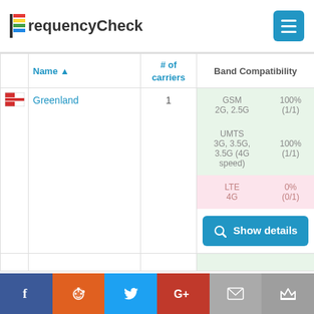FrequencyCheck
|  | Name ▲ | # of carriers | Band Compatibility |
| --- | --- | --- | --- |
| [flag] | Greenland | 1 | GSM 2G, 2.5G | 100% (1/1) | UMTS 3G, 3.5G, 3.5G (4G speed) | 100% (1/1) | LTE 4G | 0% (0/1) |
Facebook | Reddit | Twitter | Google+ | Mail | Crown